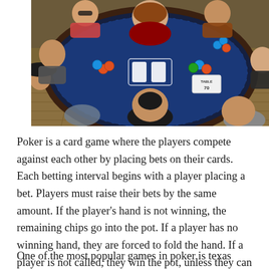[Figure (photo): Overhead view of a poker table with multiple players seated around a large dark blue/navy poker table. Players are visible from above, some wearing casual clothes. Poker chips are visible on the table. A table number marker (TABLE 70) is visible. The setting appears to be an indoor poker tournament.]
Poker is a card game where the players compete against each other by placing bets on their cards. Each betting interval begins with a player placing a bet. Players must raise their bets by the same amount. If the player's hand is not winning, the remaining chips go into the pot. If a player has no winning hand, they are forced to fold the hand. If a player is not called, they win the pot, unless they can show their hand.
One of the most popular games in poker is texas